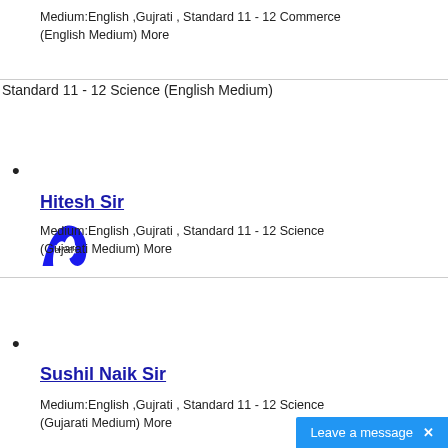Medium:English ,Gujrati , Standard 11 - 12 Commerce (English Medium) More
Standard 11 - 12 Science (English Medium)
Hitesh Sir — Medium:English ,Gujrati , Standard 11 - 12 Science (Gujarati Medium) More
Sushil Naik Sir — Medium:English ,Gujrati , Standard 11 - 12 Science (Gujarati Medium) More
Leave a message